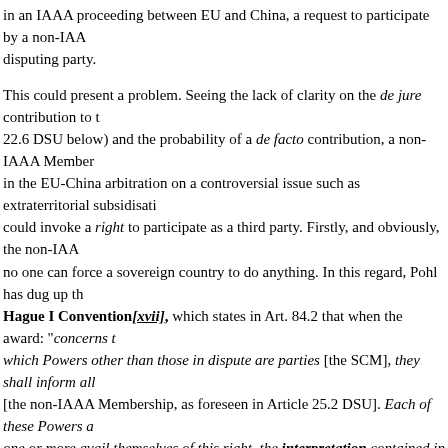in an IAAA proceeding between EU and China, a request to participate by a non-IAA disputing party.
This could present a problem. Seeing the lack of clarity on the de jure contribution to (22.6 DSU below) and the probability of a de facto contribution, a non-IAAA Member in the EU-China arbitration on a controversial issue such as extraterritorial subsidisati could invoke a right to participate as a third party. Firstly, and obviously, the non-IAA no one can force a sovereign country to do anything. In this regard, Pohl has dug up th Hague I Convention[xvii], which states in Art. 84.2 that when the award: "concerns t which Powers other than those in dispute are parties [the SCM], they shall inform all [the non-IAAA Membership, as foreseen in Article 25.2 DSU]. Each of these Powers a one or more avail themselves of this right, the interpretation contained in the Award is Pohl further points out that 108 out of the 164 WTO members are members to the 190 this includes the entire IAAA Membership. In so far as the relationship between the as lex specialis is concerned, Pohl notes in a footnote that:
"It could be questioned if there is a norm conflict between Art 25.3 DSU and Art 84.2 this respect, such that Art 30(3) of the Vienna Convention on the Law of Treaties, 1153 applicable. However, it should be noted that, in contrast to the prevailing definitio provisions are fully capable of being applied at the same time (cf. Art 59(1)(b) VC